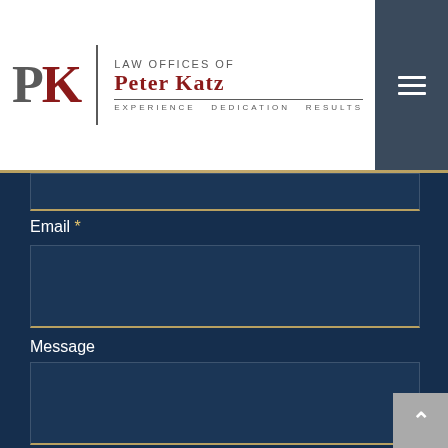[Figure (logo): Law Offices of Peter Katz logo with PK monogram, tagline: Experience Dedication Results]
Email *
Message